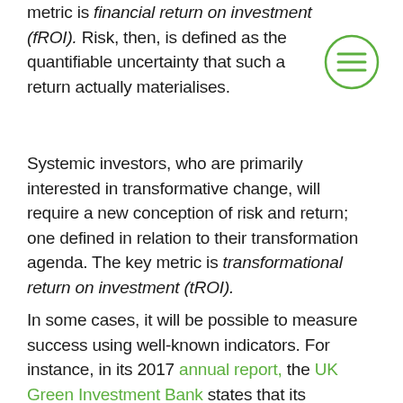metric is financial return on investment (fROI). Risk, then, is defined as the quantifiable uncertainty that such a return actually materialises.
Systemic investors, who are primarily interested in transformative change, will require a new conception of risk and return; one defined in relation to their transformation agenda. The key metric is transformational return on investment (tROI).
In some cases, it will be possible to measure success using well-known indicators. For instance, in its 2017 annual report, the UK Green Investment Bank states that its